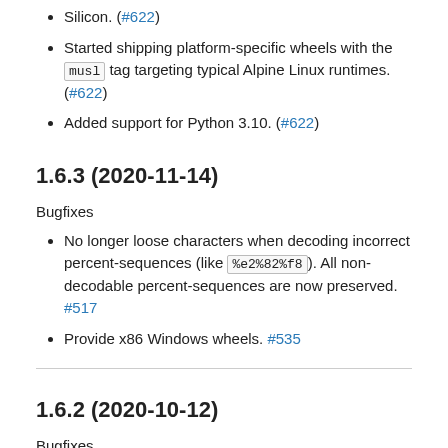Silicon. (#622)
Started shipping platform-specific wheels with the musl tag targeting typical Alpine Linux runtimes. (#622)
Added support for Python 3.10. (#622)
1.6.3 (2020-11-14)
Bugfixes
No longer loose characters when decoding incorrect percent-sequences (like %e2%82%f8). All non-decodable percent-sequences are now preserved. #517
Provide x86 Windows wheels. #535
1.6.2 (2020-10-12)
Bugfixes